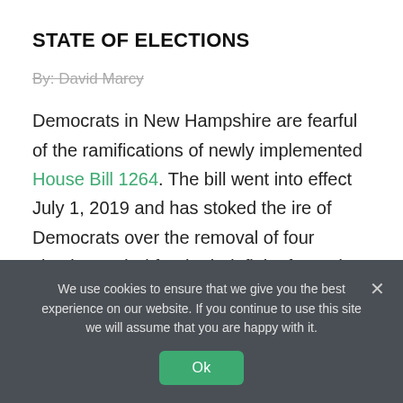STATE OF ELECTIONS
By: David Marcy
Democrats in New Hampshire are fearful of the ramifications of newly implemented House Bill 1264. The bill went into effect July 1, 2019 and has stoked the ire of Democrats over the removal of four simple words (“for the indefinite future”) from the definition of resident. In essence,
We use cookies to ensure that we give you the best experience on our website. If you continue to use this site we will assume that you are happy with it.